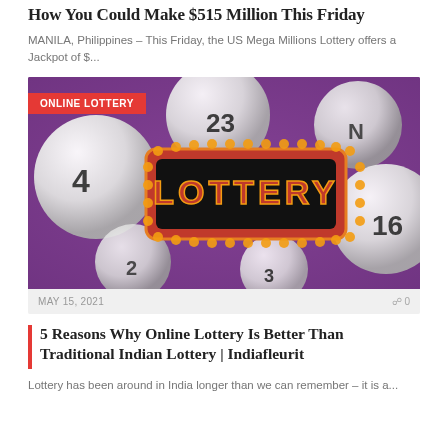How You Could Make $515 Million This Friday
MANILA, Philippines – This Friday, the US Mega Millions Lottery offers a Jackpot of $...
[Figure (photo): Lottery balls on purple background with illuminated LOTTERY sign marquee board. Red badge reads ONLINE LOTTERY.]
MAY 15, 2021    0
5 Reasons Why Online Lottery Is Better Than Traditional Indian Lottery | Indiafleurit
Lottery has been around in India longer than we can remember – it is a...